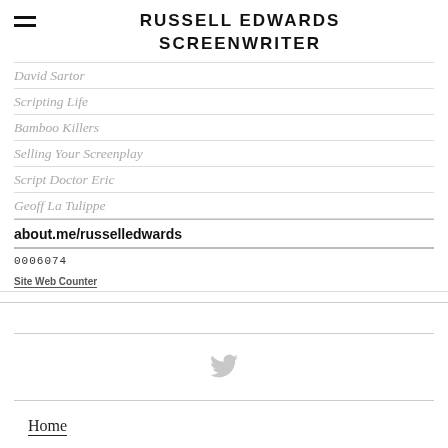RUSSELL EDWARDS SCREENWRITER
David Sartor
Scripting Life
Bamboo Killers
Selling Your Screenplay
Script Doctor Eric
Geoff La Tulippe
about.me/russelledwards
0006074
Site Web Counter
[Figure (logo): Twitter bird icon in light gray]
Home